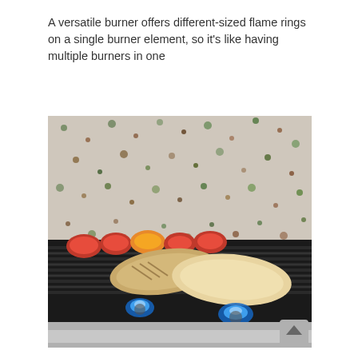A versatile burner offers different-sized flame rings on a single burner element, so it's like having multiple burners in one
[Figure (photo): A gas range cooktop with a grill grate. On the grill are two flatbreads (naan) and several halved tomatoes and peaches being grilled. Blue gas flames are visible beneath the grate. The backsplash behind is a colorful terrazzo-style tile with greens, oranges, and browns.]